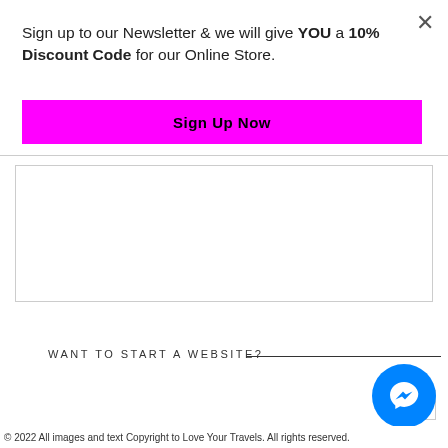Sign up to our Newsletter & we will give YOU a 10% Discount Code for our Online Store.
Sign Up Now
WANT TO START A WEBSITE?
[Figure (other): Messenger chat bubble icon (blue circle with white lightning bolt)]
© 2022 All images and text Copyright to Love Your Travels. All rights reserved.